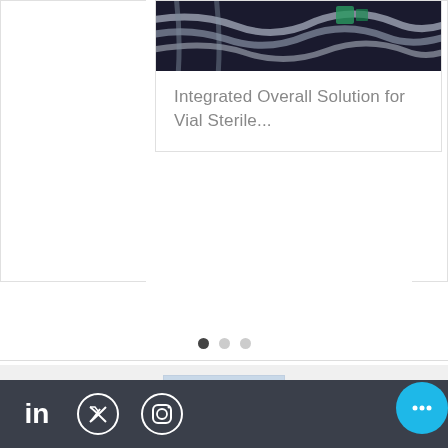[Figure (photo): Industrial pharmaceutical tubing/pipes machinery in dark tones, partially visible at top]
Integrated Overall Solution for Vial Sterile...
[Figure (other): Carousel navigation dots: one filled dark, two light grey]
[Figure (photo): Pharmaceutical vials and syringe on blue-tinted background - LyophilizationWorld logo image]
LYOPHILIZATIONWORLD
info@lyophilizationworld.com
Privacy Policy
[Figure (other): Social media icons bar: LinkedIn, Twitter, Instagram on dark grey background with blue chat button]